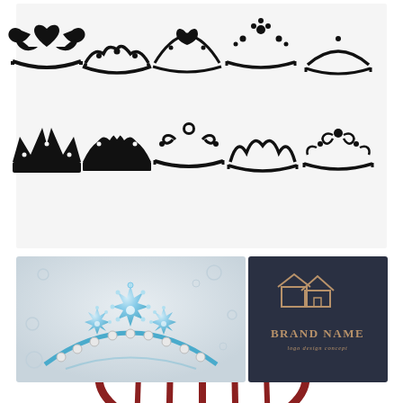[Figure (illustration): Collection of 10 black silhouette tiara/crown designs arranged in two rows of 5 each on white background]
[Figure (illustration): Decorative blue crystal/gemstone tiara on light gray background with pearl accents and bokeh bubbles]
[Figure (logo): Dark navy background with gold house/building logo icon above 'BRAND NAME' text and 'logo design concept' subtitle in gold/copper tones]